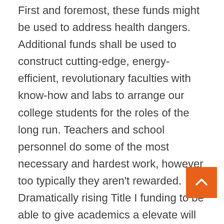First and foremost, these funds might be used to address health dangers. Additional funds shall be used to construct cutting-edge, energy-efficient, revolutionary faculties with know-how and labs to arrange our college students for the roles of the long run. Teachers and school personnel do some of the most necessary and hardest work, however too typically they aren't rewarded. Dramatically rising Title I funding to be able to give academics a elevate will permit school districts and educators to determine Education & Science what the largest need is for their communities as a substitute of using a one-size-fits-all method. And, it'll be sure that states which have been treating their teachers pretty however still have unmet wants for Title I schools can profit from these funds. Many educators throughout the country are experiencing stagnant wages, slashed benefits, rising class sizes,